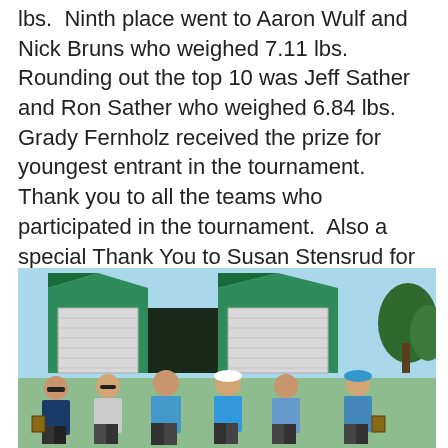lbs.  Ninth place went to Aaron Wulf and Nick Bruns who weighed 7.11 lbs.  Rounding out the top 10 was Jeff Sather and Ron Sather who weighed 6.84 lbs.  Grady Fernholz received the prize for youngest entrant in the tournament.  Thank you to all the teams who participated in the tournament.  Also a special Thank You to Susan Stensrud for an outstanding job as tournament director and the many volunteers who made this tournament happen.
[Figure (photo): Group photo of six men standing in front of green tents at an outdoor fishing tournament. Some hold plaques/awards. Background shows green tents with white boards and trees.]